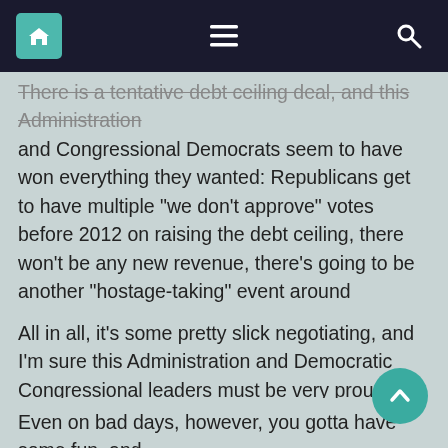Navigation bar with home, menu, and search icons
There is a tentative debt ceiling deal, and this Administration and Congressional Democrats seem to have won everything they wanted: Republicans get to have multiple “we don’t approve” votes before 2012 on raising the debt ceiling, there won’t be any new revenue, there’s going to be another “hostage-taking” event around Christmastime, for many Democrats the issue of the Ryan Budget and the dismantling of Medicare is likely off the table for the 2012 electoral cycle, and the Administration seems to have figured out a way to not involve itself in shaping the way that entitlement reform will work out.
All in all, it’s some pretty slick negotiating, and I’m sure this Administration and Democratic Congressional leaders must be very proud.
Even on bad days, however, you gotta have some fun, and